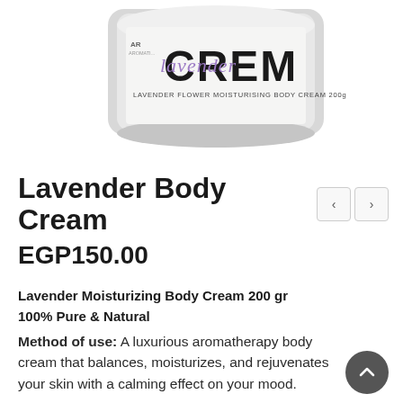[Figure (photo): Top view of a silver/white jar of Lavender Flower Moisturising Body Cream 200g with purple script lavender text overlay on a CREM label]
Lavender Body Cream
EGP150.00
Lavender Moisturizing Body Cream 200 gr
100% Pure & Natural
Method of use: A luxurious aromatherapy body cream that balances, moisturizes, and rejuvenates your skin with a calming effect on your mood.